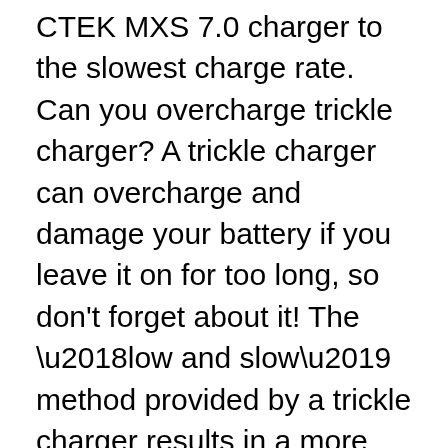CTEK MXS 7.0 charger to the slowest charge rate. Can you overcharge trickle charger? A trickle charger can overcharge and damage your battery if you leave it on for too long, so don't forget about it! The ‘low and slow’ method provided by a trickle charger results in a more thorough, reliable charge and longer battery life.